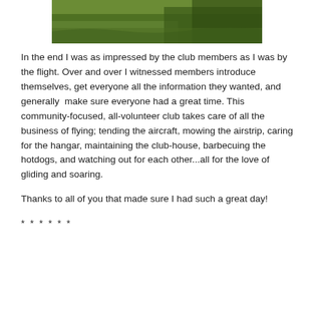[Figure (photo): Top portion of a photo showing green grass, partially cropped at the top of the page.]
In the end I was as impressed by the club members as I was by the flight. Over and over I witnessed members introduce themselves, get everyone all the information they wanted, and generally  make sure everyone had a great time. This community-focused, all-volunteer club takes care of all the business of flying; tending the aircraft, mowing the airstrip, caring for the hangar, maintaining the club-house, barbecuing the hotdogs, and watching out for each other...all for the love of gliding and soaring.
Thanks to all of you that made sure I had such a great day!
* * * * * *